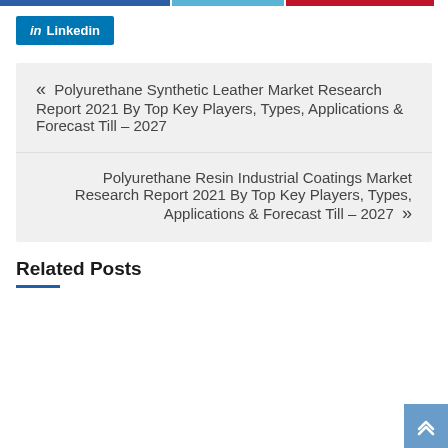[Figure (other): Top colored bar strips: blue, light blue, red]
[Figure (logo): LinkedIn button with 'in' icon and text 'Linkedin' on blue background]
« Polyurethane Synthetic Leather Market Research Report 2021 By Top Key Players, Types, Applications & Forecast Till – 2027
Polyurethane Resin Industrial Coatings Market Research Report 2021 By Top Key Players, Types, Applications & Forecast Till – 2027 »
Related Posts